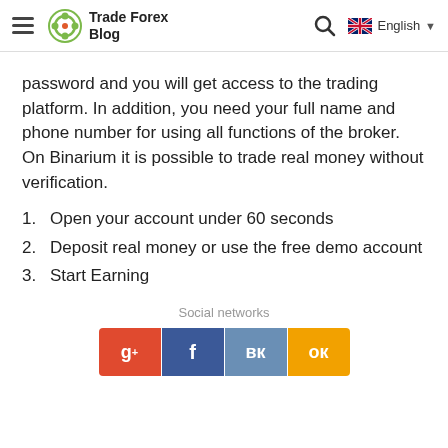Trade Forex Blog
password and you will get access to the trading platform. In addition, you need your full name and phone number for using all functions of the broker. On Binarium it is possible to trade real money without verification.
1. Open your account under 60 seconds
2. Deposit real money or use the free demo account
3. Start Earning
Social networks
[Figure (infographic): Social network share buttons: Google+, Facebook, VK, Odnoklassniki]